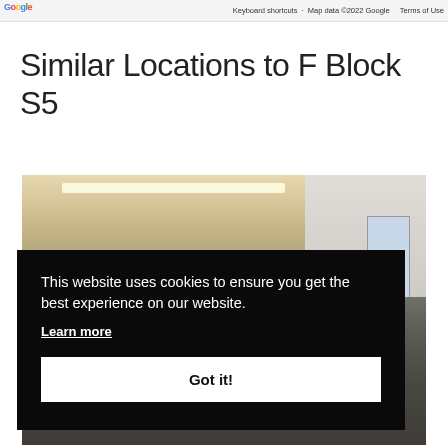Keyboard shortcuts · Map data ©2022 Google · Terms of Use
Similar Locations to F Block S5
[Figure (photo): Interior photo of a warehouse or large industrial/commercial space showing ceiling, strip lighting, white walls, and bare concrete floor in dim lighting.]
This website uses cookies to ensure you get the best experience on our website.
Learn more
Got it!